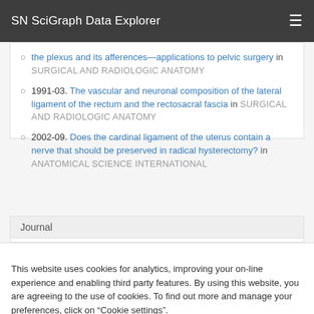SN SciGraph Data Explorer
the plexus and its afferences—applications to pelvic surgery in SURGICAL AND RADIOLOGIC ANATOMY
1991-03. The vascular and neuronal composition of the lateral ligament of the rectum and the rectosacral fascia in SURGICAL AND RADIOLOGIC ANATOMY
2002-09. Does the cardinal ligament of the uterus contain a nerve that should be preserved in radical hysterectomy? in ANATOMICAL SCIENCE INTERNATIONAL
Journal
This website uses cookies for analytics, improving your on-line experience and enabling third party features. By using this website, you are agreeing to the use of cookies. To find out more and manage your preferences, click on “Cookie settings”.